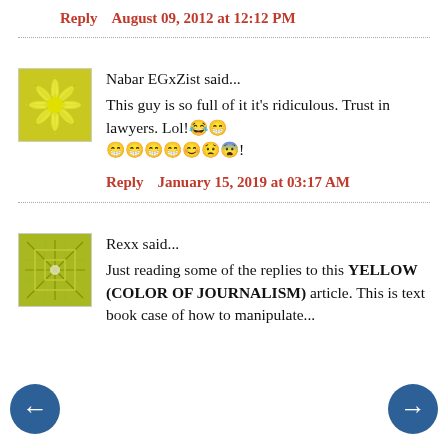Reply   August 09, 2012 at 12:12 PM
Nabar EGxZist said...
This guy is so full of it it's ridiculous. Trust in lawyers. Lol!😂😂😂😂😂😂😂😨!
Reply   January 15, 2019 at 03:17 AM
Rexx said...
Just reading some of the replies to this YELLOW (COLOR OF JOURNALISM) article. This is text book case of how to manipulate...